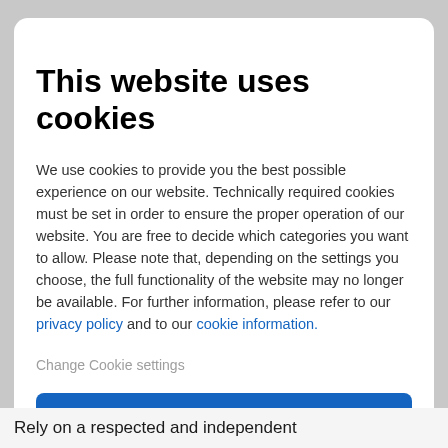This website uses cookies
We use cookies to provide you the best possible experience on our website. Technically required cookies must be set in order to ensure the proper operation of our website. You are free to decide which categories you want to allow. Please note that, depending on the settings you choose, the full functionality of the website may no longer be available. For further information, please refer to our privacy policy and to our cookie information.
Change Cookie settings
Accept all cookies
Rely on a respected and independent